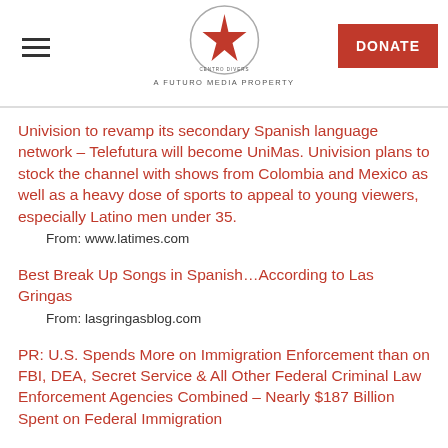[Figure (logo): Futuro Media star logo in a circle with 'A FUTURO MEDIA PROPERTY' text below]
Univision to revamp its secondary Spanish language network – Telefutura will become UniMas. Univision plans to stock the channel with shows from Colombia and Mexico as well as a heavy dose of sports to appeal to young viewers, especially Latino men under 35.
From: www.latimes.com
Best Break Up Songs in Spanish…According to Las Gringas
From: lasgringasblog.com
PR: U.S. Spends More on Immigration Enforcement than on FBI, DEA, Secret Service & All Other Federal Criminal Law Enforcement Agencies Combined – Nearly $187 Billion Spent on Federal Immigration